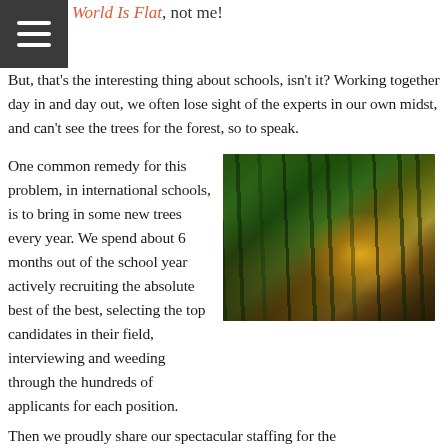World Is Flat, not me!
But, that's the interesting thing about schools, isn't it? Working together day in and day out, we often lose sight of the experts in our own midst, and can't see the trees for the forest, so to speak.
One common remedy for this problem, in international schools, is to bring in some new trees every year. We spend about 6 months out of the school year actively recruiting the absolute best of the best, selecting the top candidates in their field, interviewing and weeding through the hundreds of applicants for each position. Then we proudly share our spectacular staffing for the
[Figure (photo): A forest path with sunlight streaming through green trees, golden light glowing in the center background, with a dirt trail leading into the light.]